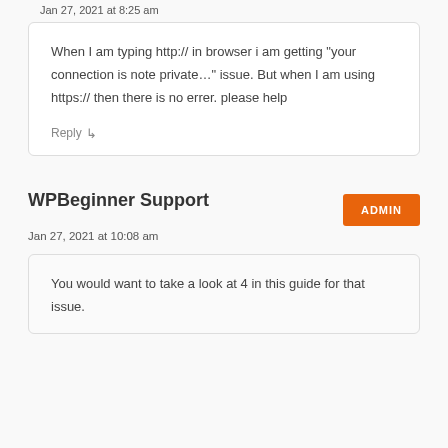Jan 27, 2021 at 8:25 am
When I am typing http:// in browser i am getting “your connection is note private…” issue. But when I am using https:// then there is no errer. please help
Reply
WPBeginner Support
Jan 27, 2021 at 10:08 am
You would want to take a look at 4 in this guide for that issue.